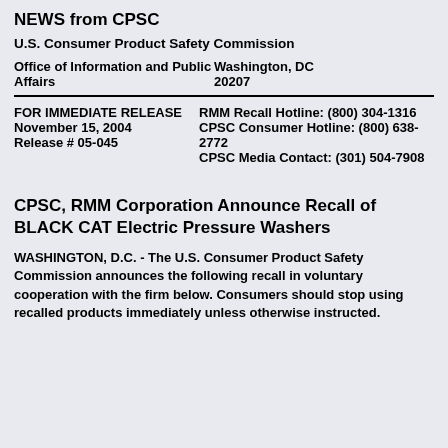NEWS from CPSC
U.S. Consumer Product Safety Commission
| Office of Information and Public Affairs | Washington, DC 20207 |
| FOR IMMEDIATE RELEASE
November 15, 2004
Release # 05-045 | RMM Recall Hotline: (800) 304-1316
CPSC Consumer Hotline: (800) 638-2772
CPSC Media Contact: (301) 504-7908 |
CPSC, RMM Corporation Announce Recall of BLACK CAT Electric Pressure Washers
WASHINGTON, D.C. - The U.S. Consumer Product Safety Commission announces the following recall in voluntary cooperation with the firm below. Consumers should stop using recalled products immediately unless otherwise instructed.